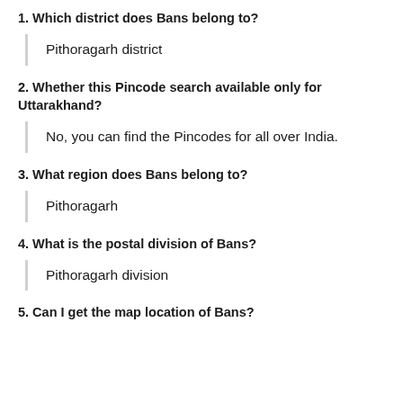1. Which district does Bans belong to?
Pithoragarh district
2. Whether this Pincode search available only for Uttarakhand?
No, you can find the Pincodes for all over India.
3. What region does Bans belong to?
Pithoragarh
4. What is the postal division of Bans?
Pithoragarh division
5. Can I get the map location of Bans?